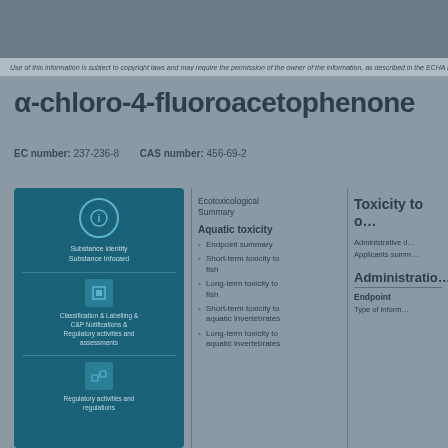Use of this information is subject to copyright laws and may require the permission
α-chloro-4-fluoroacetophenone
EC number: 237-236-8    CAS number: 456-69-2
[Figure (infographic): Blue information card with icons for chemical substance data, classification & labelling, C&P notifications, and inventory/regulatory links]
Ecotoxicological Summary
Aquatic toxicity
Endpoint summary
Short-term toxicity to fish
Long-term toxicity to fish
Short-term toxicity to aquatic invertebrates
Long-term toxicity to aquatic invertebrates
Toxicity to o…
Administrative d…
Applicants summ…
Administratio…
Endpoint
Type of inform…